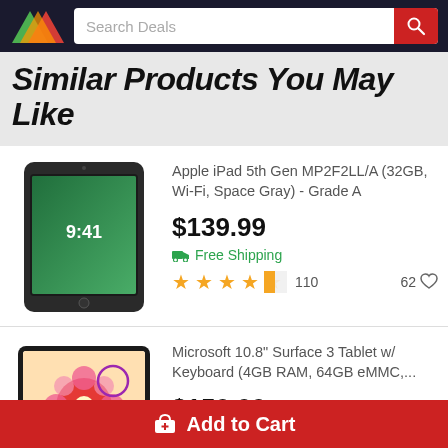Search Deals
Similar Products You May Like
[Figure (photo): Apple iPad 5th Gen showing lock screen at 9:41 in Space Gray color]
Apple iPad 5th Gen MP2F2LL/A (32GB, Wi-Fi, Space Gray) - Grade A
$139.99
Free Shipping
110 reviews, 62 likes
[Figure (photo): Microsoft 10.8 inch Surface 3 Tablet with keyboard showing colorful flower app on screen]
Microsoft 10.8" Surface 3 Tablet w/ Keyboard (4GB RAM, 64GB eMMC,...
$159.99
Free Shipping
Add to Cart